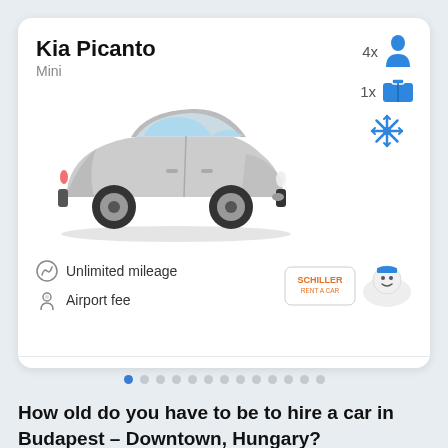Kia Picanto
Mini
[Figure (photo): Silver/grey Kia Picanto mini car, front three-quarter view]
4x passengers
1x luggage
Air conditioning (snowflake icon)
Unlimited mileage
Airport fee
[Figure (logo): Schiller Rent a Car logo and a second rental company logo]
$18.26 /day
Rent a car
How old do you have to be to hire a car in Budapest – Downtown, Hungary?